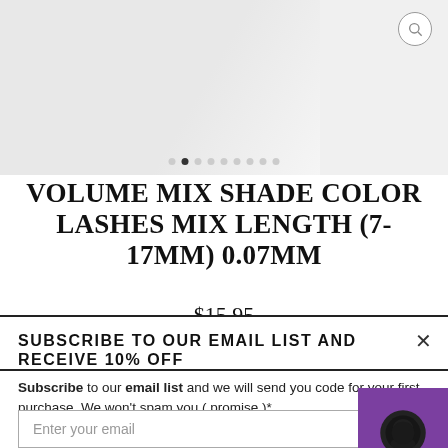[Figure (screenshot): E-commerce product page screenshot showing a product image carousel placeholder at the top with navigation dots, and a search/magnify icon. Below is the product title and price. A popup overlay is visible in the lower portion with an email subscription offer.]
VOLUME MIX SHADE COLOR LASHES MIX LENGTH (7-17MM) 0.07MM
$15.95
or 4 interest-free payments on orders over $35
SUBSCRIBE TO OUR EMAIL LIST AND RECEIVE 10% OFF
Subscribe to our email list and we will send you code for your first purchase. We won't spam you ( promise )*
Enter your email
Pay in 4 interest-free installments for orders over $50 at
CURL
C  D  L